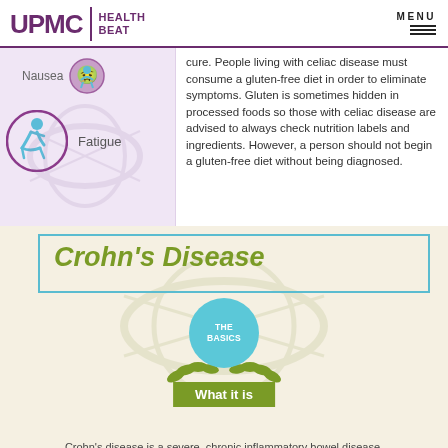UPMC HEALTH BEAT | MENU
[Figure (infographic): Infographic panel showing celiac disease symptoms: Nausea (with icon of person with stomach pain) and Fatigue (with icon of tired person), with purple/pink background and DNA watermark]
cure. People living with celiac disease must consume a gluten-free diet in order to eliminate symptoms. Gluten is sometimes hidden in processed foods so those with celiac disease are advised to always check nutrition labels and ingredients. However, a person should not begin a gluten-free diet without being diagnosed.
[Figure (infographic): Crohn's Disease infographic section showing title 'Crohn's Disease' in olive/yellow-green italic text within a teal border box, a teal circle with 'THE BASICS', leaf decorations, olive button 'What it is', and description text about Crohn's disease, on beige/tan background with DNA watermark]
Crohn's disease is a severe, chronic inflammatory bowel disease. It causes inflammation, ulcers, and bleeding in the digestive tract.
We have updated our UPMC Website/Email Terms of Use and MyUPMC Terms and Conditions. See our Cookies Notice for information concerning our use of cookies. By using this website you consent to our Website/Email Terms of Use.